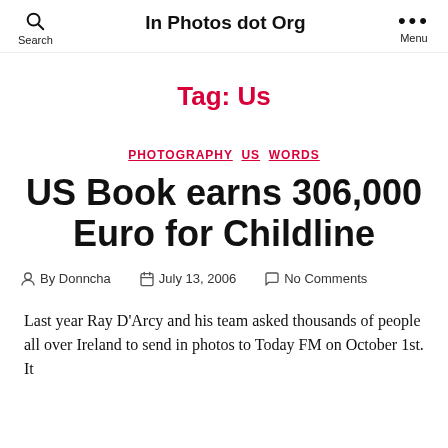Search | In Photos dot Org | Menu
Tag: Us
PHOTOGRAPHY  US  WORDS
US Book earns 306,000 Euro for Childline
By Donncha  July 13, 2006  No Comments
Last year Ray D'Arcy and his team asked thousands of people all over Ireland to send in photos to Today FM on October 1st. It...